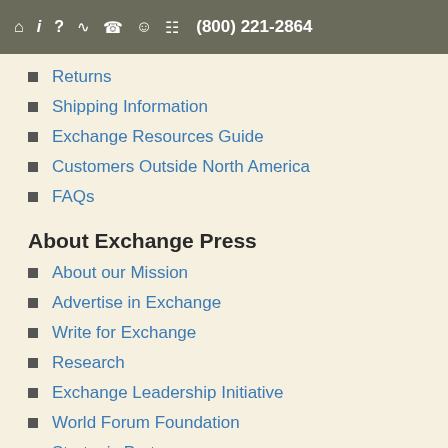(800) 221-2864
Returns
Shipping Information
Exchange Resources Guide
Customers Outside North America
FAQs
About Exchange Press
About our Mission
Advertise in Exchange
Write for Exchange
Research
Exchange Leadership Initiative
World Forum Foundation
Strategic Partners
RSS
[Figure (screenshot): Join Us on Facebook! button (blue) and Follow Us on Twitter! button (cyan)]